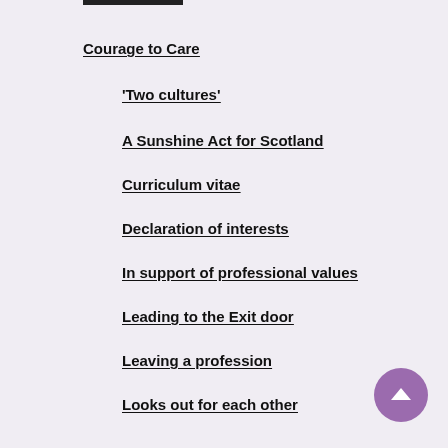Courage to Care
'Two cultures'
A Sunshine Act for Scotland
Curriculum vitae
Declaration of interests
In support of professional values
Leading to the Exit door
Leaving a profession
Looks out for each other